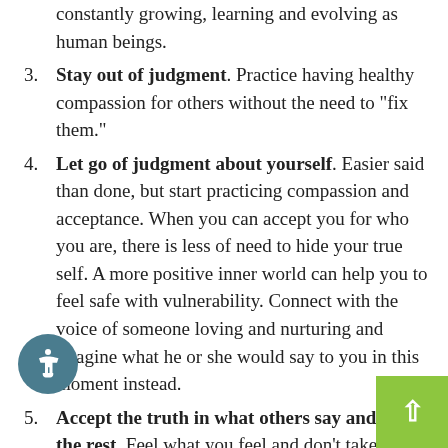constantly growing, learning and evolving as human beings.
Stay out of judgment. Practice having healthy compassion for others without the need to “fix them.”
Let go of judgment about yourself. Easier said than done, but start practicing compassion and acceptance. When you can accept you for who you are, there is less of need to hide your true self. A more positive inner world can help you to feel safe with vulnerability. Connect with the voice of someone loving and nurturing and imagine what he or she would say to you in this moment instead.
Accept the truth in what others say and leave the rest. Feel what you feel and don’t take responsibility for or take on the emotions of others. Give back their feelings, thoughts and expectations.